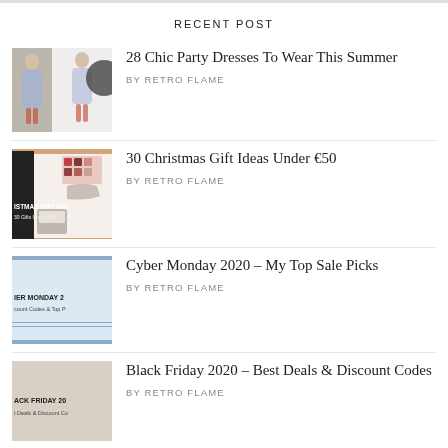RECENT POST
[Figure (photo): Thumbnail image of woman in blue party dress]
28 Chic Party Dresses To Wear This Summer
by RETRO FLAME
[Figure (photo): Thumbnail image for Christmas gift guide with cosmetics]
30 Christmas Gift Ideas Under €50
by RETRO FLAME
[Figure (photo): Thumbnail image for Cyber Monday 2020 post]
Cyber Monday 2020 – My Top Sale Picks
by RETRO FLAME
[Figure (photo): Thumbnail image for Black Friday 2020 post]
Black Friday 2020 – Best Deals & Discount Codes
by RETRO FLAME